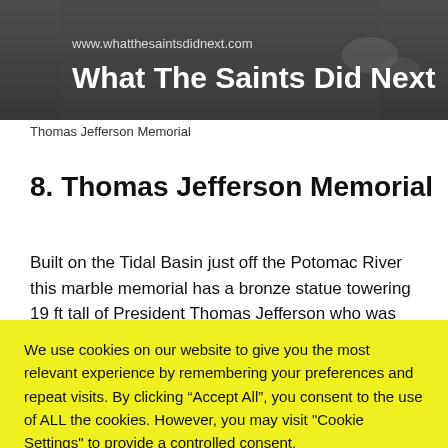[Figure (screenshot): Website header banner for 'What The Saints Did Next' showing dark background with text 'www.whatthesaintsdidnext.com' and large bold title 'What The Saints Did Next']
Thomas Jefferson Memorial
8. Thomas Jefferson Memorial
Built on the Tidal Basin just off the Potomac River this marble memorial has a bronze statue towering 19 ft tall of President Thomas Jefferson who was instrumental in
We use cookies on our website to give you the most relevant experience by remembering your preferences and repeat visits. By clicking “Accept All”, you consent to the use of ALL the cookies. However, you may visit "Cookie Settings" to provide a controlled consent.
Cookie Settings | Accept All
Privacy & Cookie Policy